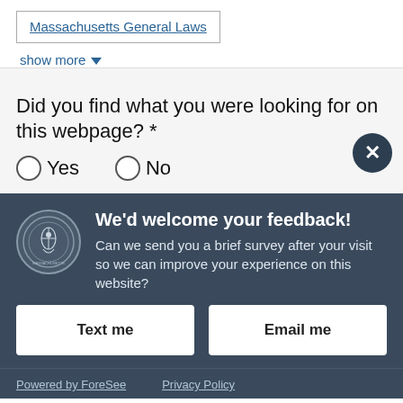Massachusetts General Laws
show more
Did you find what you were looking for on this webpage? *
Yes   No
We'd welcome your feedback!
Can we send you a brief survey after your visit so we can improve your experience on this website?
Text me
Email me
Powered by ForeSee    Privacy Policy